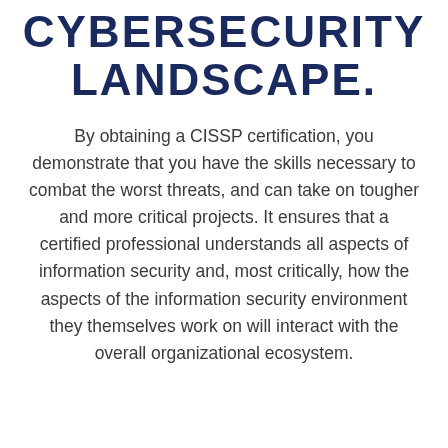CYBERSECURITY LANDSCAPE.
By obtaining a CISSP certification, you demonstrate that you have the skills necessary to combat the worst threats, and can take on tougher and more critical projects. It ensures that a certified professional understands all aspects of information security and, most critically, how the aspects of the information security environment they themselves work on will interact with the overall organizational ecosystem.